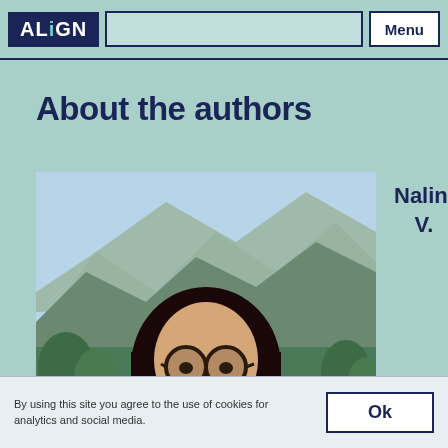ALiGN | Menu
About the authors
[Figure (photo): Portrait photo of Nalini V. with mountains and green trees in the background, person wearing glasses with long dark hair.]
Nalini V.
By using this site you agree to the use of cookies for analytics and social media. Ok